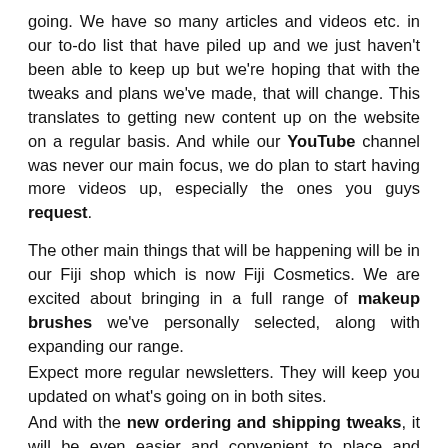going. We have so many articles and videos etc. in our to-do list that have piled up and we just haven't been able to keep up but we're hoping that with the tweaks and plans we've made, that will change. This translates to getting new content up on the website on a regular basis. And while our YouTube channel was never our main focus, we do plan to start having more videos up, especially the ones you guys request.
The other main things that will be happening will be in our Fiji shop which is now Fiji Cosmetics. We are excited about bringing in a full range of makeup brushes we've personally selected, along with expanding our range.
Expect more regular newsletters. They will keep you updated on what's going on in both sites.
And with the new ordering and shipping tweaks, it will be even easier and convenient to place and receive your orders.
So yes, we have alot of things in the pipeline which we are very excited about. And we are very grateful for your continued...